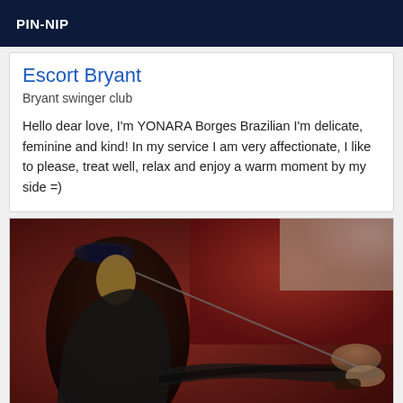PIN-NIP
Escort Bryant
Bryant swinger club
Hello dear love, I'm YONARA Borges Brazilian I'm delicate, feminine and kind! In my service I am very affectionate, I like to please, treat well, relax and enjoy a warm moment by my side =)
[Figure (photo): Photo of a woman in black lingerie and police hat posing on a red tufted surface, holding a riding crop attached to a man's restrained legs in the foreground.]